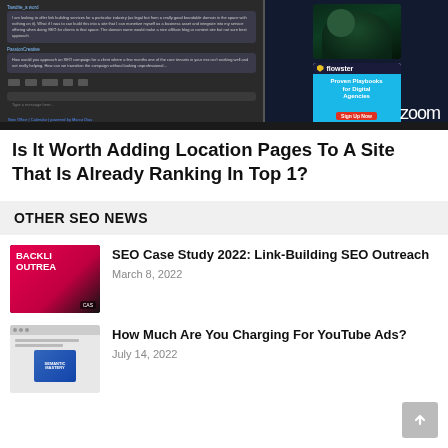[Figure (screenshot): Zoom meeting screenshot showing a chat panel on the left with conversation bubbles, and on the right side a Flowster advertisement banner with two people in dark background and a blue promotional card reading 'Proven Playbooks for Digital Agencies' with a red Sign Up Now button. Zoom logo visible in bottom right corner.]
Is It Worth Adding Location Pages To A Site That Is Already Ranking In Top 1?
OTHER SEO NEWS
[Figure (photo): Thumbnail image for SEO Case Study 2022 backlink outreach article, showing a person with text BACKLINK OUTREACH and CASE on dark red/pink background]
SEO Case Study 2022: Link-Building SEO Outreach
March 8, 2022
[Figure (screenshot): Thumbnail showing a webpage screenshot with a book cover for Semantic Mastery]
How Much Are You Charging For YouTube Ads?
July 14, 2022